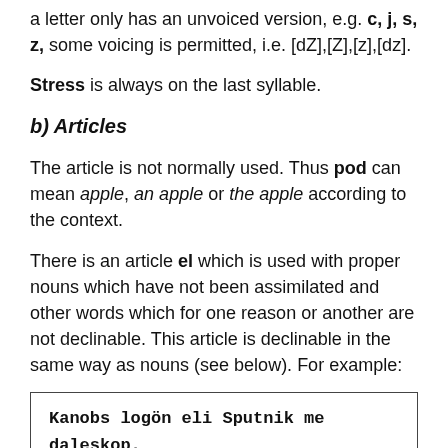a letter only has an unvoiced version, e.g. c, j, s, z, some voicing is permitted, i.e. [dZ],[Z],[z],[dz].
Stress is always on the last syllable.
b) Articles
The article is not normally used. Thus pod can mean apple, an apple or the apple according to the context.
There is an article el which is used with proper nouns which have not been assimilated and other words which for one reason or another are not declinable. This article is declinable in the same way as nouns (see below). For example:
Kanobs logön eli Sputnik me daleskop.
We can see the sputnik with a